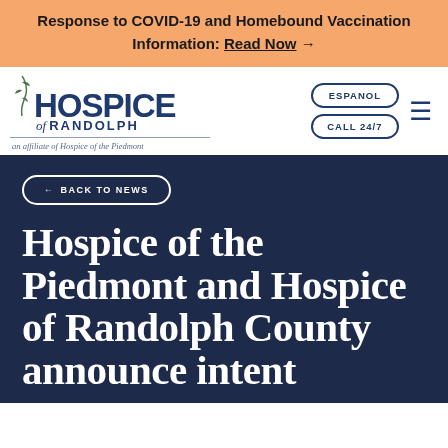Response to COVID-19 and Homebound Vaccination Information: Read Now →
[Figure (logo): Hospice of Randolph logo — an affiliate of Hospice of the Piedmont, with decorative leaf/branch icon]
ESPANOL
CALL 24/7
← BACK TO NEWS
Hospice of the Piedmont and Hospice of Randolph County announce intent